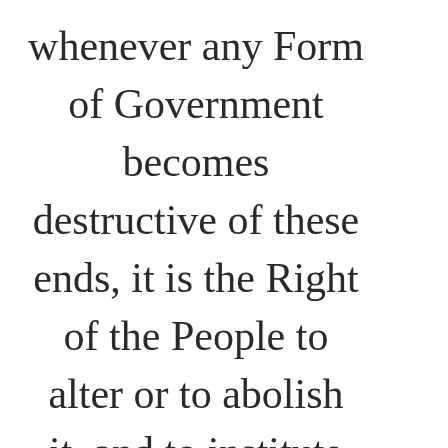whenever any Form of Government becomes destructive of these ends, it is the Right of the People to alter or to abolish it, and to institute new Government, laying its foundation on such principles and